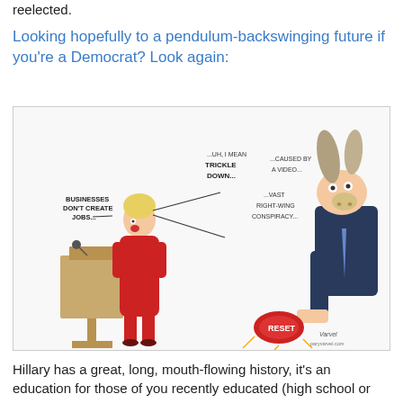reelected.
Looking hopefully to a pendulum-backswinging future if you're a Democrat? Look again:
[Figure (illustration): Political cartoon by Gary Varvel showing a figure at a podium (resembling Hillary Clinton) saying 'BUSINESSES DON'T CREATE JOBS...', '...UH, I MEAN TRICKLE DOWN...', '...CAUSED BY A VIDEO...', '...VAST RIGHT-WING CONSPIRACY...' while a donkey-headed man in a suit presses a red RESET button. Signed by the cartoonist with paryvarvel.com watermark.]
Hillary has a great, long, mouth-flowing history, it's an education for those of you recently educated (high school or